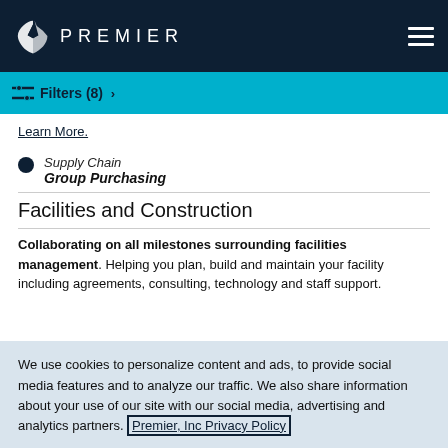PREMIER
Filters (8)
Learn More.
Supply Chain
Group Purchasing
Facilities and Construction
Collaborating on all milestones surrounding facilities management. Helping you plan, build and maintain your facility including agreements, consulting, technology and staff support.
We use cookies to personalize content and ads, to provide social media features and to analyze our traffic. We also share information about your use of our site with our social media, advertising and analytics partners. Premier, Inc Privacy Policy